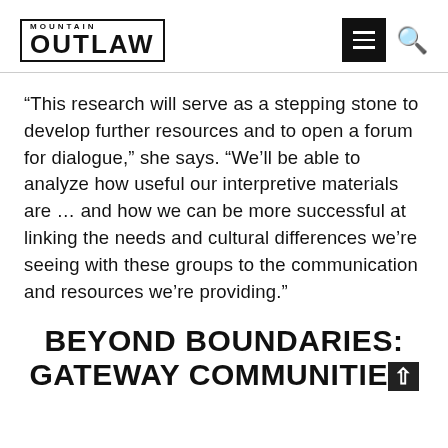MOUNTAIN OUTLAW
“This research will serve as a stepping stone to develop further resources and to open a forum for dialogue,” she says. “We’ll be able to analyze how useful our interpretive materials are … and how we can be more successful at linking the needs and cultural differences we’re seeing with these groups to the communication and resources we’re providing.”
BEYOND BOUNDARIES: GATEWAY COMMUNITIES